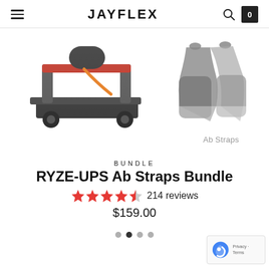JAYFLEX
[Figure (photo): Product bundle photo showing RYZE-UPS exercise equipment on left and Ab Straps on right, with 'Ab Straps' label visible below the straps image.]
BUNDLE
RYZE-UPS Ab Straps Bundle
★★★★½ 214 reviews
$159.00